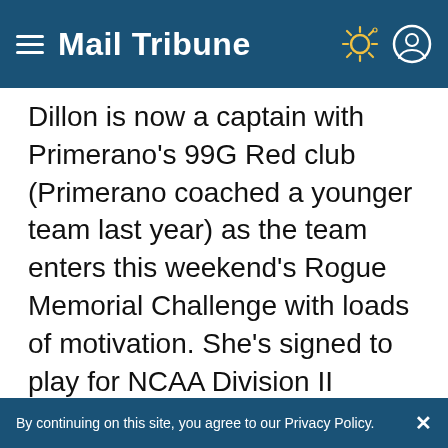Mail Tribune
Dillon is now a captain with Primerano's 99G Red club (Primerano coached a younger team last year) as the team enters this weekend's Rogue Memorial Challenge with loads of motivation. She's signed to play for NCAA Division II Central Washington University.
Dillon's story line is one of many at the local tournament, hosted by the Rogue Valley Timbers club. It will showcase 157 teams ranging from the U10 to U19 levels and runs from Saturday to Monday.
By continuing on this site, you agree to our Privacy Policy.